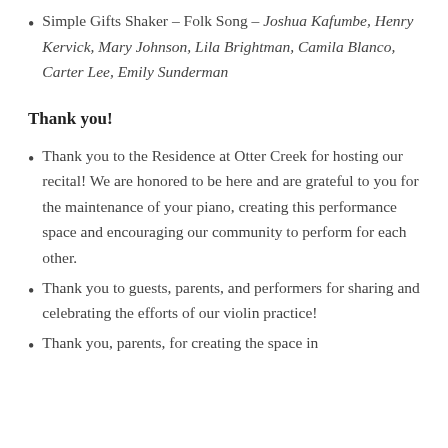Simple Gifts Shaker – Folk Song – Joshua Kafumbe, Henry Kervick, Mary Johnson, Lila Brightman, Camila Blanco, Carter Lee, Emily Sunderman
Thank you!
Thank you to the Residence at Otter Creek for hosting our recital! We are honored to be here and are grateful to you for the maintenance of your piano, creating this performance space and encouraging our community to perform for each other.
Thank you to guests, parents, and performers for sharing and celebrating the efforts of our violin practice!
Thank you, parents, for creating the space in